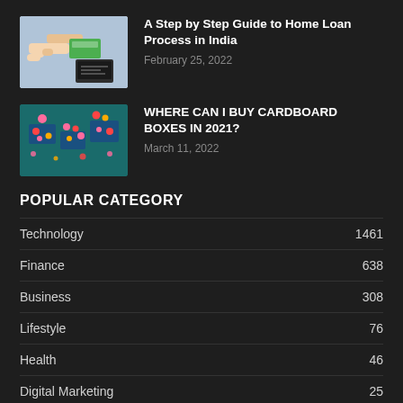[Figure (photo): Thumbnail image of hands exchanging money/card with a small chalkboard sign for home loan]
A Step by Step Guide to Home Loan Process in India
February 25, 2022
[Figure (photo): Thumbnail image of colorful decorative cardboard boxes on teal background]
WHERE CAN I BUY CARDBOARD BOXES IN 2021?
March 11, 2022
POPULAR CATEGORY
Technology  1461
Finance  638
Business  308
Lifestyle  76
Health  46
Digital Marketing  25